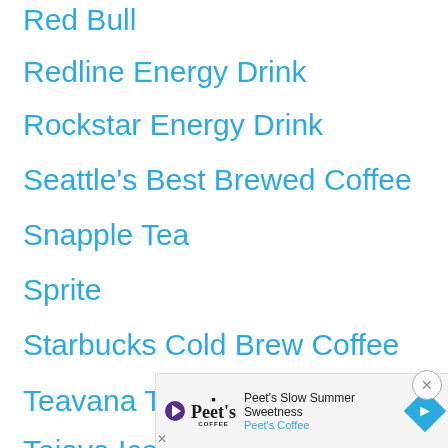Red Bull
Redline Energy Drink
Rockstar Energy Drink
Seattle's Best Brewed Coffee
Snapple Tea
Sprite
Starbucks Cold Brew Coffee
Teavana Tea
Tejava Iced Tea
Tim H…
[Figure (infographic): Peet's Coffee advertisement banner: 'Peet's Slow Summer Sweetness' with Peet's Coffee logo and arrow icon]